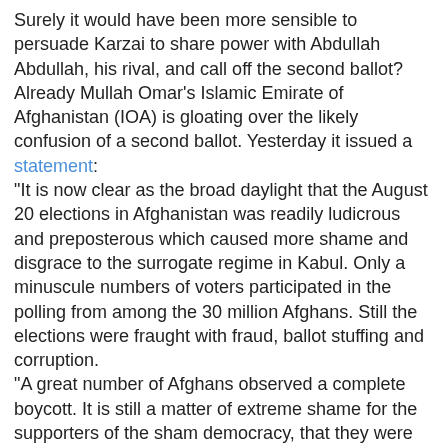Surely it would have been more sensible to persuade Karzai to share power with Abdullah Abdullah, his rival, and call off the second ballot?
Already Mullah Omar's Islamic Emirate of Afghanistan (IOA) is gloating over the likely confusion of a second ballot. Yesterday it issued a statement:
"It is now clear as the broad daylight that the August 20 elections in Afghanistan was readily ludicrous and preposterous which caused more shame and disgrace to the surrogate regime in Kabul. Only a minuscule numbers of voters participated in the polling from among the 30 million Afghans. Still the elections were fraught with fraud, ballot stuffing and corruption.
"A great number of Afghans observed a complete boycott. It is still a matter of extreme shame for the supporters of the sham democracy, that they were merely able to announce the results after the passage of two months."
Hard to argue with that. The statement goes on:
"If the Americans and their allies had not their goals and hidden agenda, they would not have blocked the way of the election results from being declared soon. But they did not achieve what they wanted to achieve as a result of the